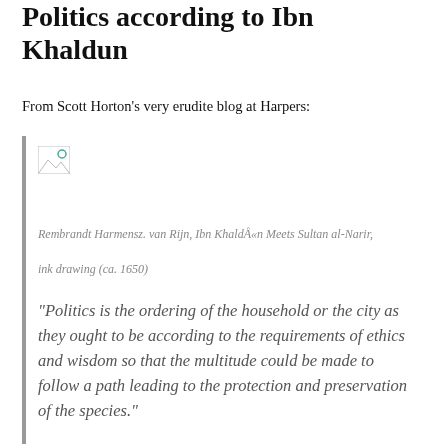Politics according to Ibn Khaldun
From Scott Horton's very erudite blog at Harpers:
[Figure (illustration): Broken/missing image placeholder thumbnail]
Rembrandt Harmensz. van Rijn, Ibn Khaldún Meets Sultan al-Narir, ink drawing (ca. 1650)
“Politics is the ordering of the household or the city as they ought to be according to the requirements of ethics and wisdom so that the multitude could be made to follow a path leading to the protection and preservation of the species.”